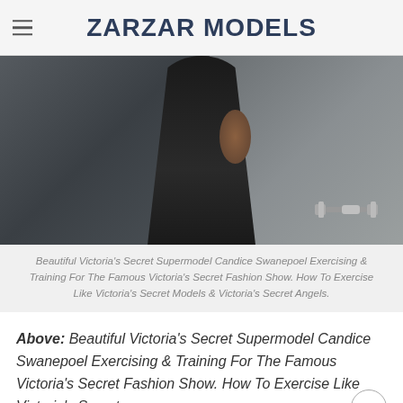ZARZAR MODELS
[Figure (photo): A close-up fitness photo showing a model in black workout clothing exercising or training, with a dumbbell visible in the background. Dark, moody gym atmosphere.]
Beautiful Victoria’s Secret Supermodel Candice Swanepoel Exercising & Training For The Famous Victoria’s Secret Fashion Show. How To Exercise Like Victoria’s Secret Models & Victoria’s Secret Angels.
Above: Beautiful Victoria’s Secret Supermodel Candice Swanepoel Exercising & Training For The Famous Victoria’s Secret Fashion Show. How To Exercise Like Victoria’s Secret